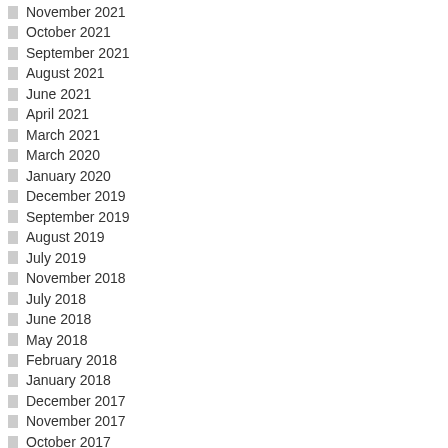November 2021
October 2021
September 2021
August 2021
June 2021
April 2021
March 2021
March 2020
January 2020
December 2019
September 2019
August 2019
July 2019
November 2018
July 2018
June 2018
May 2018
February 2018
January 2018
December 2017
November 2017
October 2017
September 2017
August 2017
July 2017
June 2017
May 2017